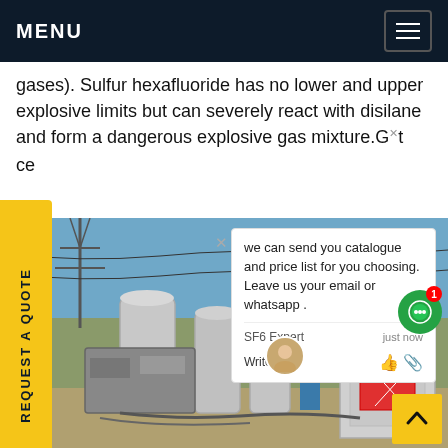MENU
gases). Sulfur hexafluoride has no lower and upper explosive limits but can severely react with disilane and form a dangerous explosive gas mixture. Get price
REQUEST A QUOTE
[Figure (photo): Industrial SF6 gas handling equipment at an electrical substation. Workers in blue uniforms and hard hats working on large grey cylindrical tanks and switchgear equipment. Electrical transmission towers visible in background.]
we can send you catalogue and price list for you choosing. Leave us your email or whatsapp .
SF6 Expert   just now
Write a